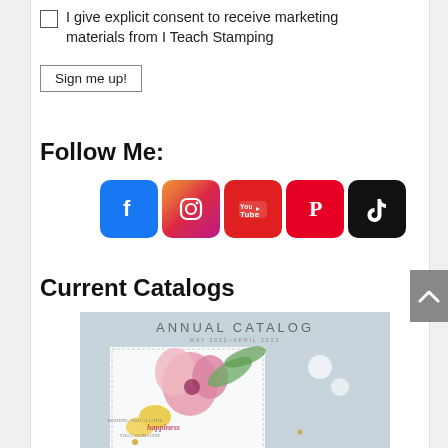I give explicit consent to receive marketing materials from I Teach Stamping
Sign me up!
Follow Me:
[Figure (infographic): Social media icons row: Facebook (blue), Instagram (gradient), YouTube (red with Tube label), Pinterest (red), TikTok (black)]
Current Catalogs
[Figure (photo): Annual Catalog cover image - May 2022-April 2023, showing floral card with pink flower and yellow flowers on blue-grey background]